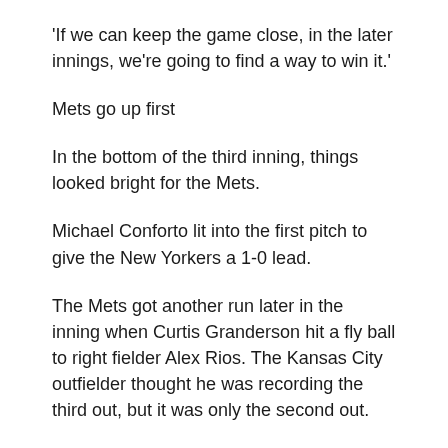'If we can keep the game close, in the later innings, we're going to find a way to win it.'
Mets go up first
In the bottom of the third inning, things looked bright for the Mets.
Michael Conforto lit into the first pitch to give the New Yorkers a 1-0 lead.
The Mets got another run later in the inning when Curtis Granderson hit a fly ball to right fielder Alex Rios. The Kansas City outfielder thought he was recording the third out, but it was only the second out.
Rios took two steps before throwing the ball toward